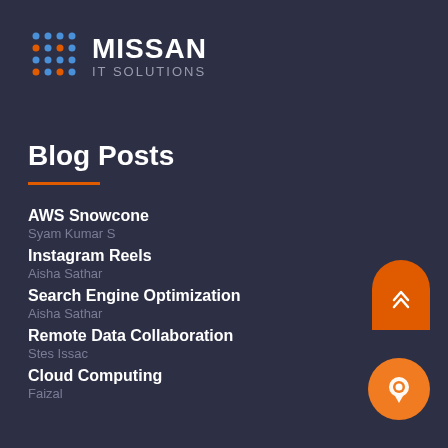[Figure (logo): Missan IT Solutions logo with grid icon and text]
Blog Posts
AWS Snowcone
Syam Kumar S
Instagram Reels
Aisha Sathar
Search Engine Optimization
Aisha Sathar
Remote Data Collaboration
Stes Issac
Cloud Computing
Faizal